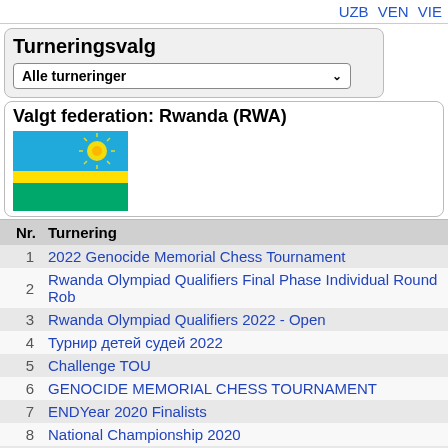UZB VEN VIE
Turneringsvalg
Alle turneringer
Valgt federation: Rwanda (RWA)
[Figure (illustration): Flag of Rwanda: blue top half with yellow sun, yellow middle stripe, green bottom stripe]
| Nr. | Turnering |
| --- | --- |
| 1 | 2022 Genocide Memorial Chess Tournament |
| 2 | Rwanda Olympiad Qualifiers Final Phase Individual Round Rob... |
| 3 | Rwanda Olympiad Qualifiers 2022 - Open |
| 4 | Турнир детей судей 2022 |
| 5 | Challenge TOU |
| 6 | GENOCIDE MEMORIAL CHESS TOURNAMENT |
| 7 | ENDYear 2020 Finalists |
| 8 | National Championship 2020 |
| 9 | National Championship Women |
| 10 | National RAPID and Blitz Tournament |
| 11 | National Rapid and BLITZ Tournament |
| 12 | Olympiad Men |